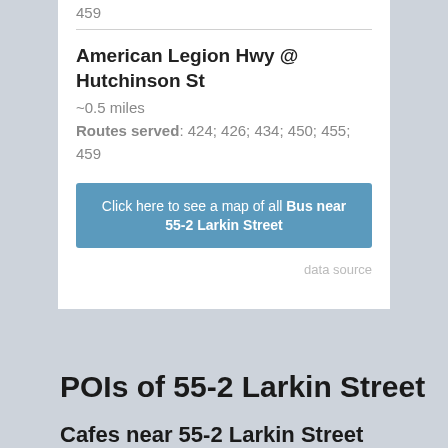459
American Legion Hwy @ Hutchinson St
~0.5 miles
Routes served: 424; 426; 434; 450; 455; 459
Click here to see a map of all Bus near 55-2 Larkin Street
data source
POIs of 55-2 Larkin Street
Cafes near 55-2 Larkin Street